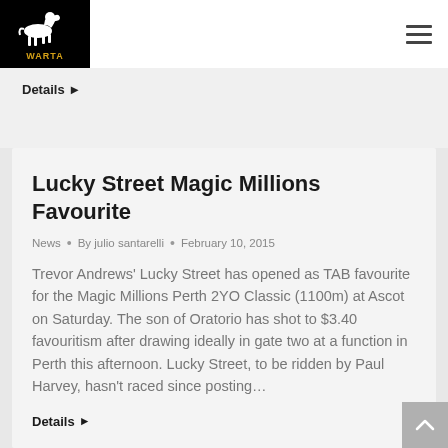WARTA (logo) navigation bar
Details ▶
Lucky Street Magic Millions Favourite
News • By julio santarelli • February 10, 2015
Trevor Andrews' Lucky Street has opened as TAB favourite for the Magic Millions Perth 2YO Classic (1100m) at Ascot on Saturday. The son of Oratorio has shot to $3.40 favouritism after drawing ideally in gate two at a function in Perth this afternoon. Lucky Street, to be ridden by Paul Harvey, hasn't raced since posting…
Details ▶